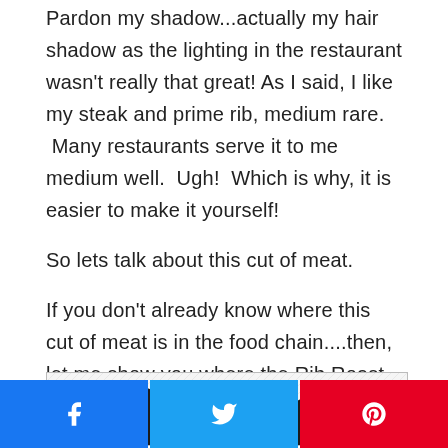Pardon my shadow...actually my hair shadow as the lighting in the restaurant wasn't really that great! As I said, I like my steak and prime rib, medium rare. Many restaurants serve it to me medium well. Ugh! Which is why, it is easier to make it yourself!
So lets talk about this cut of meat.
If you don't already know where this cut of meat is in the food chain....then, let me show you where the Rib Roast (prime rib) is located. Please see the chart below.
[Figure (illustration): Partial view of a cow cut diagram (beef chart) showing silhouette shapes at the top of the image]
Facebook share button, Twitter share button, Pinterest share button